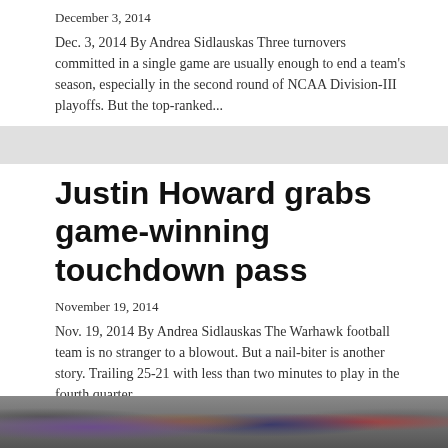December 3, 2014
Dec. 3, 2014 By Andrea Sidlauskas Three turnovers committed in a single game are usually enough to end a team’s season, especially in the second round of NCAA Division-III playoffs. But the top-ranked...
[Figure (other): Gray horizontal divider bar]
Justin Howard grabs game-winning touchdown pass
November 19, 2014
Nov. 19, 2014 By Andrea Sidlauskas The Warhawk football team is no stranger to a blowout. But a nail-biter is another story. Trailing 25-21 with less than two minutes to play in the fourth quarter...
[Figure (other): Gray horizontal divider bar]
[Figure (photo): Crowd photo at the bottom of the page, showing fans at a sporting event]